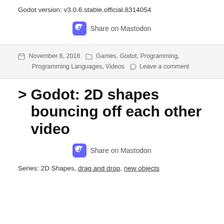Godot version: v3.0.6.stable.official.8314054
Share on Mastodon
November 8, 2018  Games, Godot, Programming, Programming Languages, Videos  Leave a comment
> Godot: 2D shapes bouncing off each other video
Share on Mastodon
Series: 2D Shapes, drag and drop, new objects